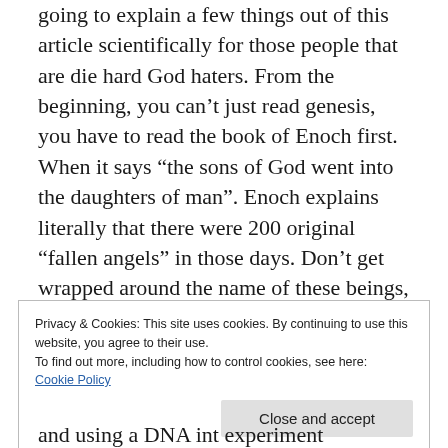going to explain a few things out of this article scientifically for those people that are die hard God haters. From the beginning, you can't just read genesis, you have to read the book of Enoch first. When it says “the sons of God went into the daughters of man”. Enoch explains literally that there were 200 original “fallen angels” in those days. Don’t get wrapped around the name of these beings, just know, they were genetically different than us but were still able to “breed” with human woman.
Privacy & Cookies: This site uses cookies. By continuing to use this website, you agree to their use.
To find out more, including how to control cookies, see here:
Cookie Policy
Close and accept
and using a DNA into experiment American cities